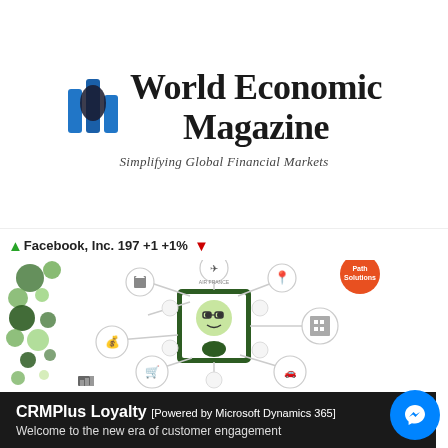[Figure (logo): World Economic Magazine logo with stylized bar chart icon in blue/dark blue and magazine name in serif font]
World Economic Magazine
Simplifying Global Financial Markets
Facebook, Inc. 197 +1 +1%
[Figure (infographic): CRMPlus Loyalty customer engagement infographic showing a central avatar connected to various brand logos and service icons including Air France, PathSolutions, shopping cart, car (Jaguar/BMW), and other business icons on a white background with green decorative circles]
CRMPlus Loyalty [Powered by Microsoft Dynamics 365] Welcome to the new era of customer engagement